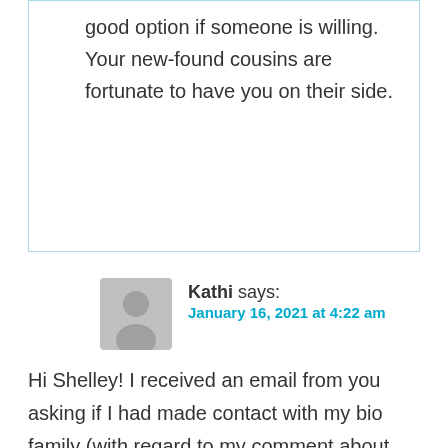good option if someone is willing. Your new-found cousins are fortunate to have you on their side.
Kathi says: January 16, 2021 at 4:22 am
Hi Shelley! I received an email from you asking if I had made contact with my bio family (with regard to my comment about my maternal